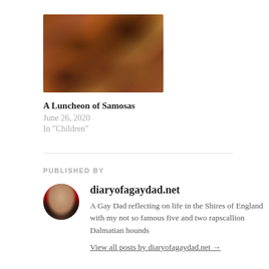[Figure (photo): Close-up photo of golden-brown samosas, showing their fried pastry texture in warm brown tones]
A Luncheon of Samosas
June 26, 2020
In "Children"
PUBLISHED BY
[Figure (photo): Circular avatar photo of a bald man with a rainbow flag, partial view]
diaryofagaydad.net
A Gay Dad reflecting on life in the Shires of England with my not so famous five and two rapscallion Dalmatian hounds
View all posts by diaryofagaydad.net →